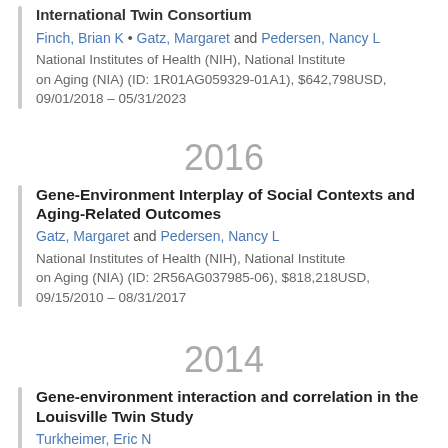International Twin Consortium
Finch, Brian K • Gatz, Margaret and Pedersen, Nancy L
National Institutes of Health (NIH), National Institute on Aging (NIA) (ID: 1R01AG059329-01A1), $642,798USD, 09/01/2018 – 05/31/2023
2016
Gene-Environment Interplay of Social Contexts and Aging-Related Outcomes
Gatz, Margaret and Pedersen, Nancy L
National Institutes of Health (NIH), National Institute on Aging (NIA) (ID: 2R56AG037985-06), $818,218USD, 09/15/2010 – 08/31/2017
2014
Gene-environment interaction and correlation in the Louisville Twin Study
Turkheimer, Eric N